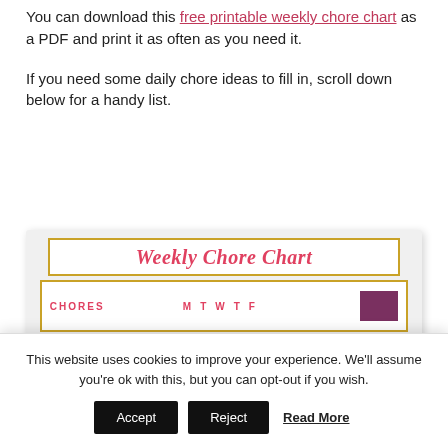You can download this free printable weekly chore chart as a PDF and print it as often as you need it.
If you need some daily chore ideas to fill in, scroll down below for a handy list.
[Figure (other): Preview of a Weekly Chore Chart printable with title 'Weekly Chore Chart' and a row showing CHORES and days M T W T F columns]
This website uses cookies to improve your experience. We'll assume you're ok with this, but you can opt-out if you wish. Accept  Reject  Read More